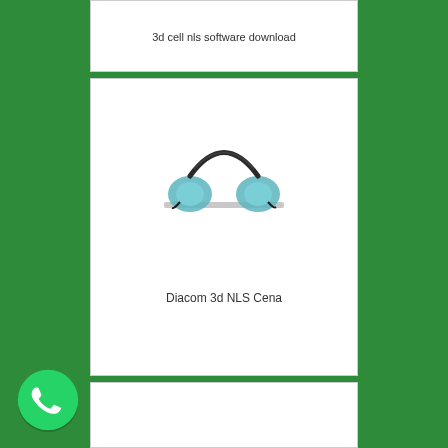[Figure (screenshot): Partial top card showing text '3d cell nls software download']
3d cell nls software download
[Figure (photo): Product card showing headphones/headset image]
Diacom 3d NLS Cena
[Figure (screenshot): Third card, mostly empty/white]
[Figure (logo): WhatsApp logo button in bottom left corner]